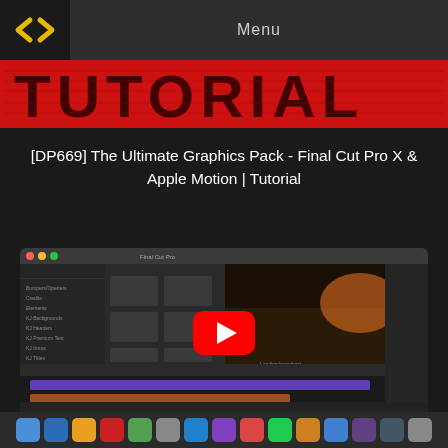Menu
[Figure (logo): DP logo — two angle-bracket arrows in gold/yellow on dark background]
[Figure (screenshot): Red banner with large distressed block text reading TUTORIAL]
[DP669] The Ultimate Graphics Pack - Final Cut Pro X & Apple Motion | Tutorial
[Figure (screenshot): Screenshot of Final Cut Pro X application showing The Ultimate Graphics Pack loaded, with a YouTube play button overlay in the center]